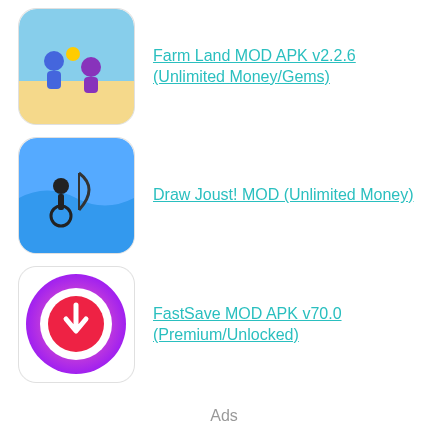Farm Land MOD APK v2.2.6 (Unlimited Money/Gems)
Draw Joust! MOD (Unlimited Money)
FastSave MOD APK v70.0 (Premium/Unlocked)
Ads
NEXT STORY
POKO MOD (Premium, Unlocked)
PREVIOUS STORY
Hello Play MOD (Premium, Unlocked)